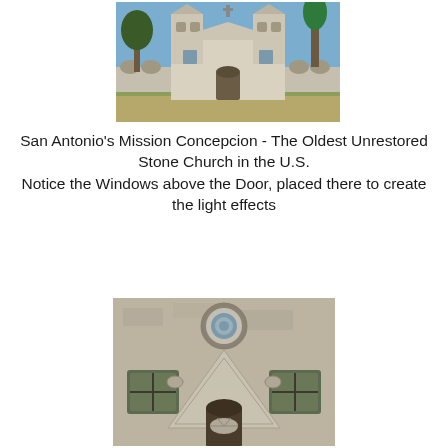[Figure (photo): Exterior view of Mission Concepcion in San Antonio, a stone church with two bell towers and arched colonnades, surrounded by trees and grass under a blue sky.]
San Antonio's Mission Concepcion - The Oldest Unrestored Stone Church in the U.S.
Notice the Windows above the Door, placed there to create the light effects
[Figure (photo): Close-up view of the facade of Mission Concepcion showing detailed stonework, a circular oculus window at the top, two rectangular windows on either side, and a triangular pediment with decorative carvings above the doorway.]